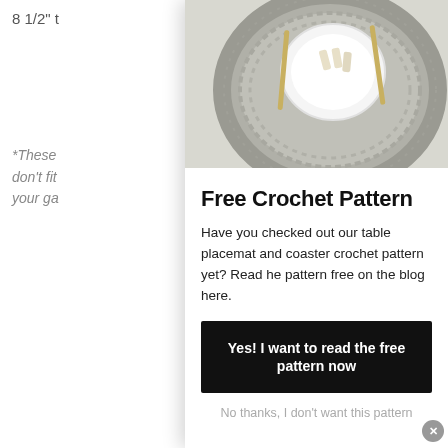8 1/2" t
*These
don't fit
your ga
[Figure (photo): Top-down photo of a round crocheted table placemat in grey/silver with a white plate on top and gold cutlery visible]
Free Crochet Pattern
Have you checked out our table placemat and coaster crochet pattern yet? Read he pattern free on the blog here.
Yes! I want to read the free pattern now
No thanks, I don't want this pattern